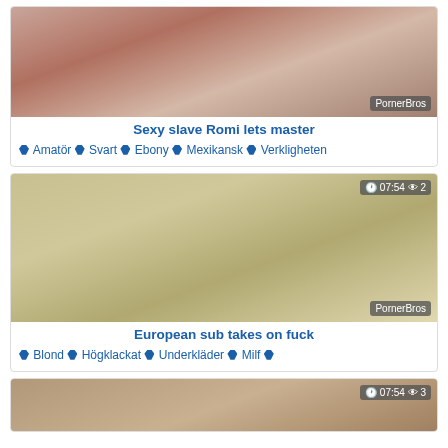[Figure (photo): Video thumbnail for 'Sexy slave Romi lets master' with PornerBros watermark]
Sexy slave Romi lets master
♦ Amatör ♦ Svart ♦ Ebony ♦ Mexikansk ♦ Verkligheten
[Figure (photo): Video thumbnail for 'European sub takes on fuck' showing 07:54 duration and 2 views, with PornerBros watermark]
European sub takes on fuck
♦ Blond ♦ Högklackat ♦ Underkläder ♦ Milf ♦
[Figure (photo): Video thumbnail showing 07:54 duration and 3 views (partial, cropped at bottom)]